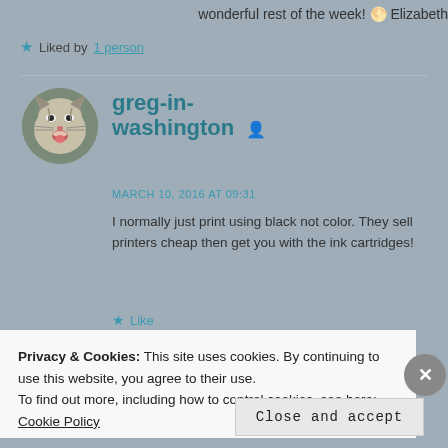wonderful rest of the week! 🌕 Elizabeth
★ Liked by 1 person
greg-in-washington
MARCH 10, 2016 AT 09:31
I normally just print using black not color. They sell printers cheap then get you with the ink cartridges!
★ Like
Privacy & Cookies: This site uses cookies. By continuing to use this website, you agree to their use.
To find out more, including how to control cookies, see here: Cookie Policy
Close and accept